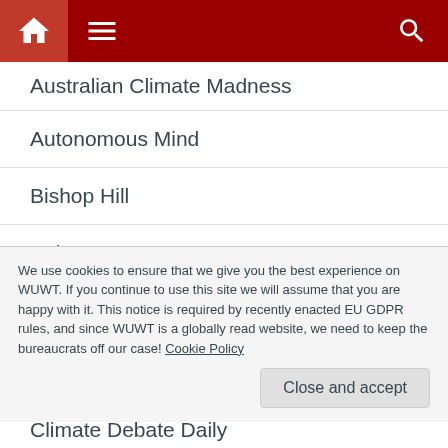Navigation bar with home icon, menu icon, and search icon
Australian Climate Madness
Autonomous Mind
Bishop Hill
Bob Carter
C3 Headlines
Carlin Economics
Cartoons By Josh
Christopher Booker
We use cookies to ensure that we give you the best experience on WUWT. If you continue to use this site we will assume that you are happy with it. This notice is required by recently enacted EU GDPR rules, and since WUWT is a globally read website, we need to keep the bureaucrats off our case! Cookie Policy
Climate Debate Daily